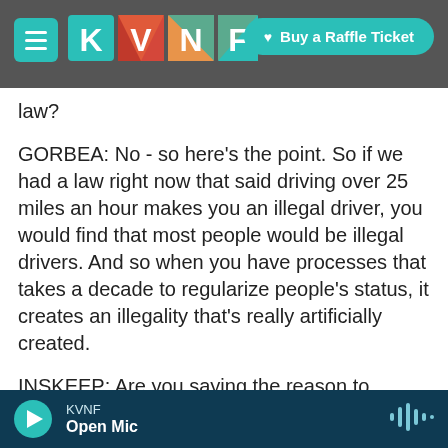[Figure (screenshot): KVNF website header with teal hamburger menu button, KVNF geometric logo, and teal 'Buy a Raffle Ticket' button on dark rocky background]
law?
GORBEA: No - so here's the point. So if we had a law right now that said driving over 25 miles an hour makes you an illegal driver, you would find that most people would be illegal drivers. And so when you have processes that takes a decade to regularize people's status, it creates an illegality that's really artificially created.
INSKEEP: Are you saying the reason to legalize people, give people legal status who are here, is because it's partly the government's fault that they
KVNF Open Mic